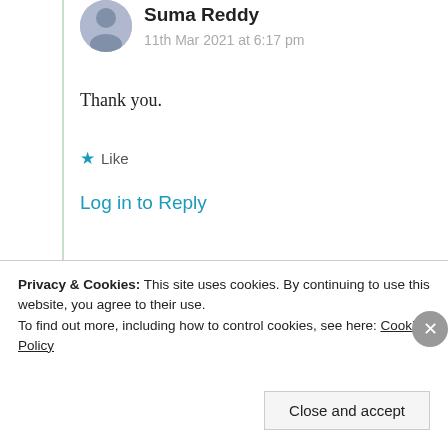Suma Reddy
11th Mar 2021 at 6:17 pm
Thank you.
★ Like
Log in to Reply
rulookingforjes us
Privacy & Cookies: This site uses cookies. By continuing to use this website, you agree to their use. To find out more, including how to control cookies, see here: Cookie Policy
Close and accept